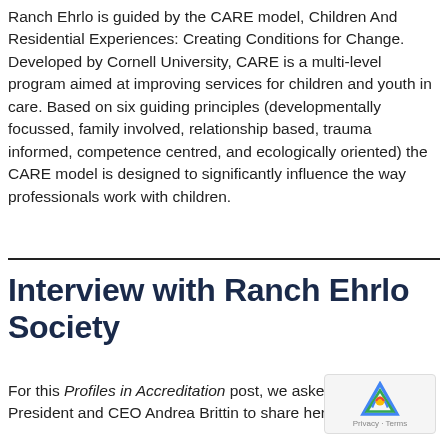Ranch Ehrlo is guided by the CARE model, Children And Residential Experiences: Creating Conditions for Change. Developed by Cornell University, CARE is a multi-level program aimed at improving services for children and youth in care. Based on six guiding principles (developmentally focussed, family involved, relationship based, trauma informed, competence centred, and ecologically oriented) the CARE model is designed to significantly influence the way professionals work with children.
Interview with Ranch Ehrlo Society
For this Profiles in Accreditation post, we asked Ranch President and CEO Andrea Brittin to share her experience of the CARE accreditation process and more about the